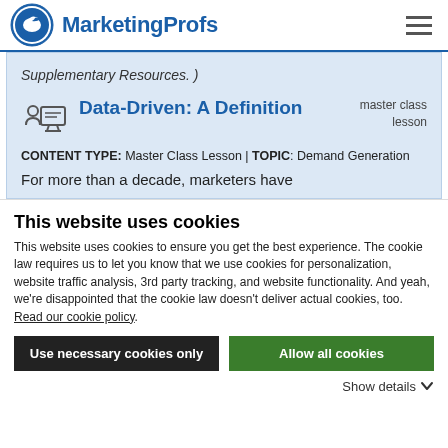MarketingProfs
Supplementary Resources. )
Data-Driven: A Definition
master class lesson
CONTENT TYPE: Master Class Lesson | TOPIC: Demand Generation
For more than a decade, marketers have
This website uses cookies
This website uses cookies to ensure you get the best experience. The cookie law requires us to let you know that we use cookies for personalization, website traffic analysis, 3rd party tracking, and website functionality. And yeah, we're disappointed that the cookie law doesn't deliver actual cookies, too. Read our cookie policy.
Use necessary cookies only
Allow all cookies
Show details